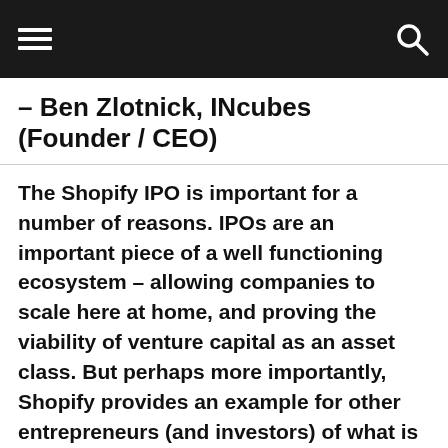– Ben Zlotnick, INcubes (Founder / CEO)
The Shopify IPO is important for a number of reasons. IPOs are an important piece of a well functioning ecosystem – allowing companies to scale here at home, and proving the viability of venture capital as an asset class. But perhaps more importantly, Shopify provides an example for other entrepreneurs (and investors) of what is possible in Canada. We're witnessing the beginning of a cultural shift in the Canadian tech ecosystem as startups mature and begin to scale in a serious way. Providing support and mentorship to this next generation of